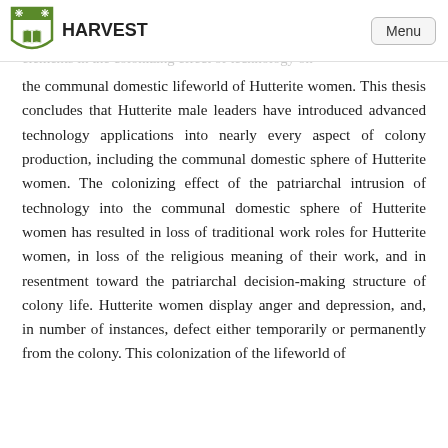HARVEST | Menu
participant observation at the colony the elements in the colonizing effect of technology on the communal domestic lifeworld of Hutterite women. This thesis concludes that Hutterite male leaders have introduced advanced technology applications into nearly every aspect of colony production, including the communal domestic sphere of Hutterite women. The colonizing effect of the patriarchal intrusion of technology into the communal domestic sphere of Hutterite women has resulted in loss of traditional work roles for Hutterite women, in loss of the religious meaning of their work, and in resentment toward the patriarchal decision-making structure of colony life. Hutterite women display anger and depression, and, in number of instances, defect either temporarily or permanently from the colony. This colonization of the lifeworld of